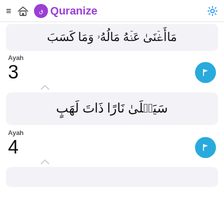Quranize
مَاأَغۡنَىٰ عَنۡهُ مَالُهُۥ وَمَا كَسَبَ
Ayah
3
سَيَصۡلَىٰ نَارًا ذَاتَ لَهَبٍ
Ayah
4